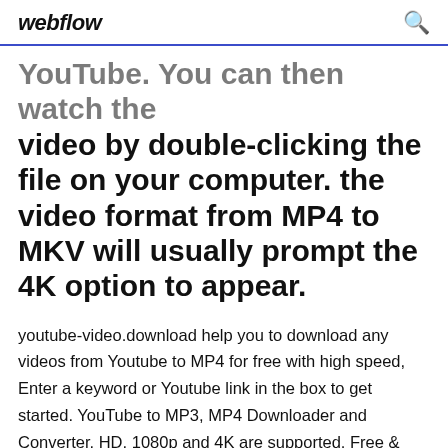webflow
YouTube. You can then watch the video by double-clicking the file on your computer. the video format from MP4 to MKV will usually prompt the 4K option to appear.
youtube-video.download help you to download any videos from Youtube to MP4 for free with high speed, Enter a keyword or Youtube link in the box to get started. YouTube to MP3, MP4 Downloader and Converter. HD, 1080p and 4K are supported. Free & fast! No software download needed. Proven FREE YouTube Downloader. Download single videos and